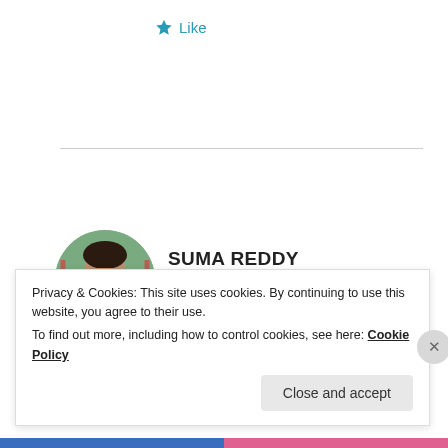[Figure (other): Star icon Like button]
SUMA REDDY
September 1, 2021 at 9:16 pm
Hema*
Privacy & Cookies: This site uses cookies. By continuing to use this website, you agree to their use.
To find out more, including how to control cookies, see here: Cookie Policy
Close and accept